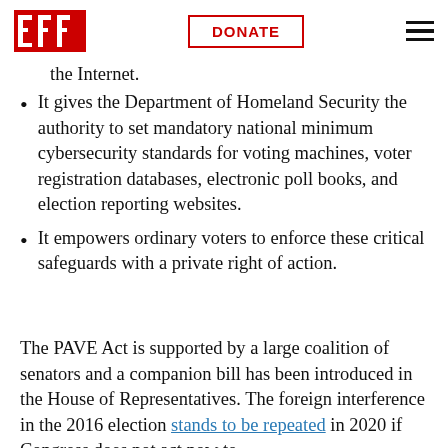EFF | DONATE
face language barriers. …mans voting to… …connecting the Internet.
It gives the Department of Homeland Security the authority to set mandatory national minimum cybersecurity standards for voting machines, voter registration databases, electronic poll books, and election reporting websites.
It empowers ordinary voters to enforce these critical safeguards with a private right of action.
The PAVE Act is supported by a large coalition of senators and a companion bill has been introduced in the House of Representatives. The foreign interference in the 2016 election stands to be repeated in 2020 if Congress does not act now to address these concerns with the integrity…